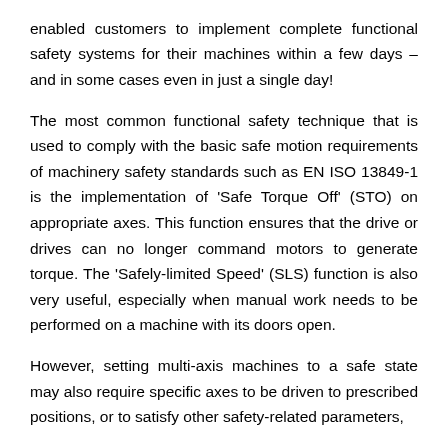enabled customers to implement complete functional safety systems for their machines within a few days – and in some cases even in just a single day! The most common functional safety technique that is used to comply with the basic safe motion requirements of machinery safety standards such as EN ISO 13849-1 is the implementation of 'Safe Torque Off' (STO) on appropriate axes. This function ensures that the drive or drives can no longer command motors to generate torque. The 'Safely-limited Speed' (SLS) function is also very useful, especially when manual work needs to be performed on a machine with its doors open. However, setting multi-axis machines to a safe state may also require specific axes to be driven to prescribed positions, or to satisfy other safety-related parameters,